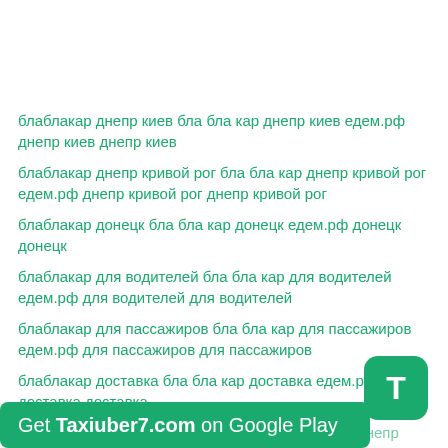блаблакар днепр киев бла бла кар днепр киев едем.рф днепр киев днепр киев
блаблакар днепр кривой рог бла бла кар днепр кривой рог едем.рф днепр кривой рог днепр кривой рог
блаблакар донецк бла бла кар донецк едем.рф донецк донецк
блаблакар для водителей бла бла кар для водителей едем.рф для водителей для водителей
блаблакар для пассажиров бла бла кар для пассажиров едем.рф для пассажиров для пассажиров
блаблакар доставка бла бла кар доставка едем.рф доставка доставка
блаблакар днепр павлоград одесса бла бла кар днепр павлоград
[Figure (other): Green rounded rectangle badge with letter T]
Get Taxiuber7.com on Google Play